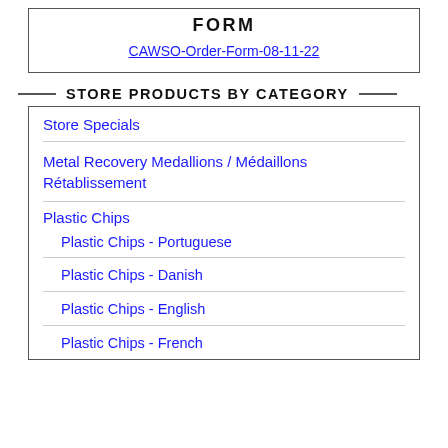FORM
CAWSO-Order-Form-08-11-22
STORE PRODUCTS BY CATEGORY
Store Specials
Metal Recovery Medallions / Médaillons Rétablissement
Plastic Chips
Plastic Chips - Portuguese
Plastic Chips - Danish
Plastic Chips - English
Plastic Chips - French